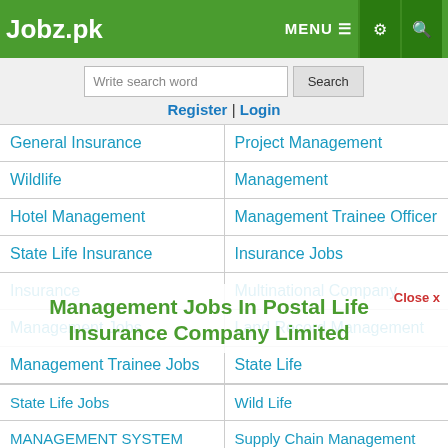Jobz.pk | MENU | settings | search
Write search word | Search
Register | Login
General Insurance
Project Management
Wildlife
Management
Hotel Management
Management Trainee Officer
State Life Insurance
Insurance Jobs
Insurance
Multinational Company
Management Jobs
Land Record Management
Management Trainee Jobs
State Life
Management Jobs In Postal Life Insurance Company Limited
Close x
State Life Jobs
Wild Life
MANAGEMENT SYSTEM
Supply Chain Management
0  0  0  2  0  0
Share | WhatsApp | Tweet | Share | Pin | Email
Company
Office Management
Sui Southern Gas Company
Management Trainee Officers
Management Trainees
Financial Management Specialist
Job Closed | Save | Comment | Print
Latest Government Jobs 2023